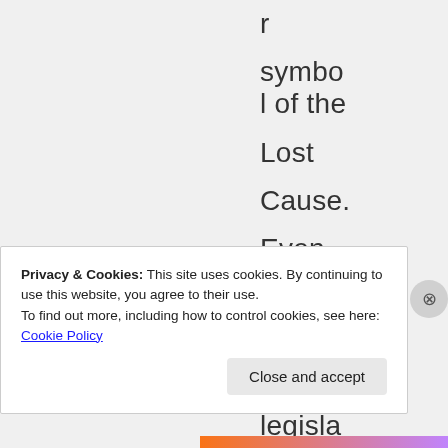r symbol of the Lost Cause. Even so, the new flag legisla­tion
Privacy & Cookies: This site uses cookies. By continuing to use this website, you agree to their use.
To find out more, including how to control cookies, see here: Cookie Policy